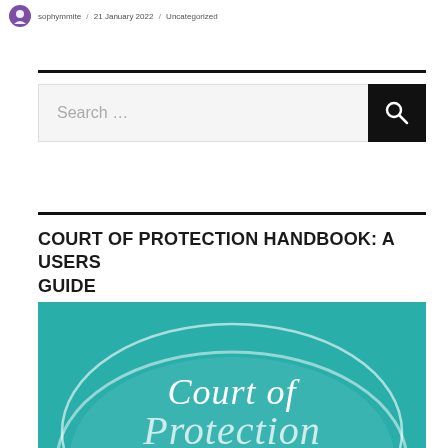sophymmite / 21 January 2022 / Uncategorized
Search …
COURT OF PROTECTION HANDBOOK: A USERS GUIDE
[Figure (illustration): Teal/turquoise book cover with white oval containing cursive text 'Court of Protection']